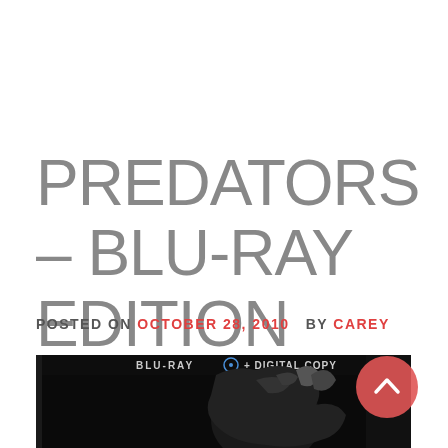PREDATORS – BLU-RAY EDITION
POSTED ON OCTOBER 28, 2010   BY CAREY
[Figure (photo): Predators Blu-ray + Digital Copy movie case cover showing dark creature silhouette on black background, with BLU-RAY and DIGITAL COPY text at top]
[Figure (illustration): Red circular scroll-to-top button with white chevron/arrow icon]